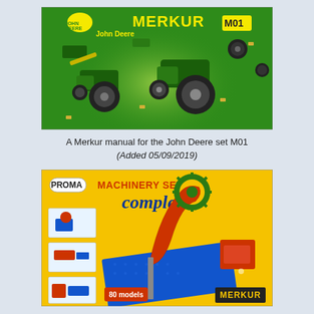[Figure (photo): Cover of a Merkur manual for the John Deere set M01, showing green background with tractors and construction pieces labeled 'MERKUR M01' and 'John Deere'.]
A Merkur manual for the John Deere set M01
(Added 05/09/2019)
[Figure (photo): Cover of a Merkur manual for the Machinery Set Complete by Proma, showing yellow background with metal construction toy models including a crane structure on a blue base, with 'MACHINERY SET complete' text and '80 models' badge.]
A Merkur manual for the Machinery set